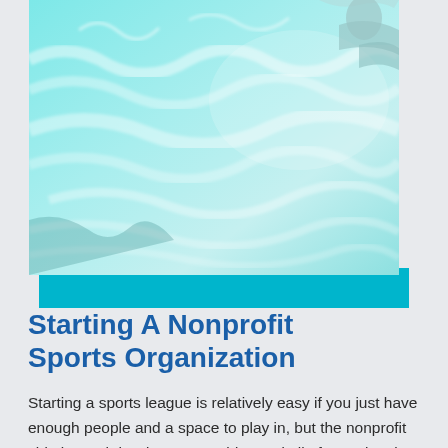[Figure (photo): Underwater pool photo showing turquoise water with light ripple patterns and a person swimming, with a cyan/teal decorative band beneath the photo frame.]
Starting A Nonprofit Sports Organization
Starting a sports league is relatively easy if you just have enough people and a space to play in, but the nonprofit side is much harder. You could spend all of your time just trying to figure out incorporation, websites, and fundraising, let alone getting your 501c. Status with…